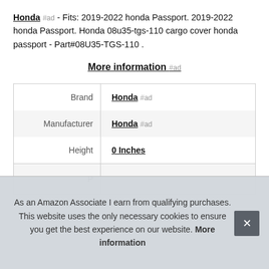Honda #ad - Fits: 2019-2022 honda Passport. 2019-2022 honda Passport. Honda 08u35-tgs-110 cargo cover honda passport - Part#08U35-TGS-110 .
More information #ad
|  |  |
| --- | --- |
| Brand | Honda #ad |
| Manufacturer | Honda #ad |
| Height | 0 Inches |
| P |  |
As an Amazon Associate I earn from qualifying purchases. This website uses the only necessary cookies to ensure you get the best experience on our website. More information